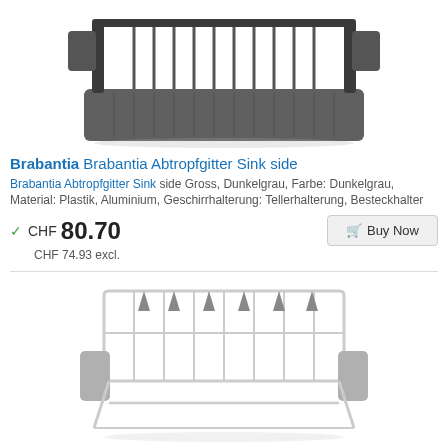[Figure (photo): Dark grey Brabantia Sink Side dish drying rack with plate holders, cutlery holder, and drip tray, viewed from above at an angle]
Brabantia Brabantia Abtropfgitter Sink side
Brabantia Abtropfgitter Sink side Gross, Dunkelgrau, Farbe: Dunkelgrau, Material: Plastik, Aluminium, Geschirrhalterung: Tellerhalterung, Besteckhalter
CHF 80.70
CHF 74.93 excl.
[Figure (photo): White/silver Brabantia dish drying rack with grey cup holders and plate pegs, viewed from the front]